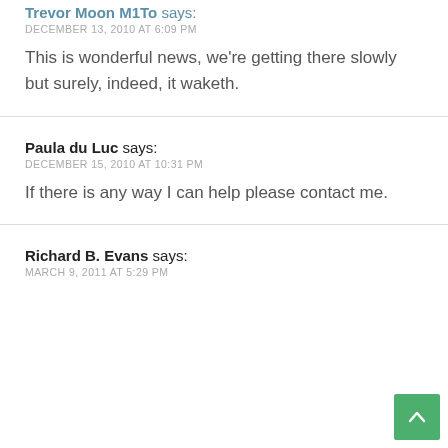Trevor Moon M1To says:
DECEMBER 13, 2010 AT 6:09 PM
This is wonderful news, we're getting there slowly but surely, indeed, it waketh.
Paula du Luc says:
DECEMBER 15, 2010 AT 10:31 PM
If there is any way I can help please contact me.
Richard B. Evans says:
MARCH 9, 2011 AT 5:29 PM